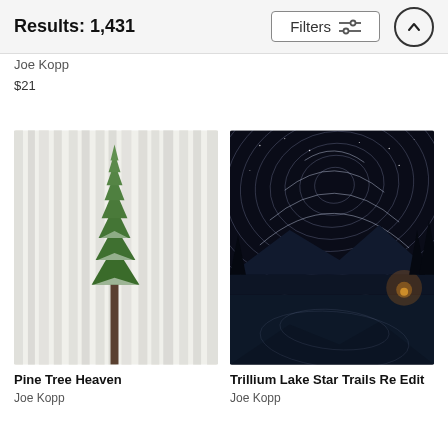Results: 1,431  Filters
Joe Kopp
$21
[Figure (photo): Pine Tree Heaven — a lone green fir tree against white birch tree trunks filling the frame]
Pine Tree Heaven
Joe Kopp
[Figure (photo): Trillium Lake Star Trails Re Edit — circular star trails over a dark lake with mountain silhouette and campfire glow]
Trillium Lake Star Trails Re Edit
Joe Kopp